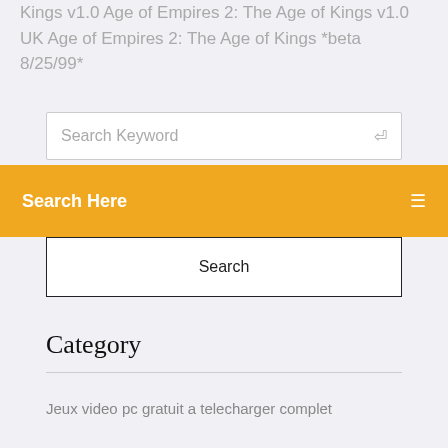Kings v1.0 Age of Empires 2: The Age of Kings v1.0 UK Age of Empires 2: The Age of Kings *beta 8/25/99*
Search Keyword
Search Here
Search
Category
Jeux video pc gratuit a telecharger complet